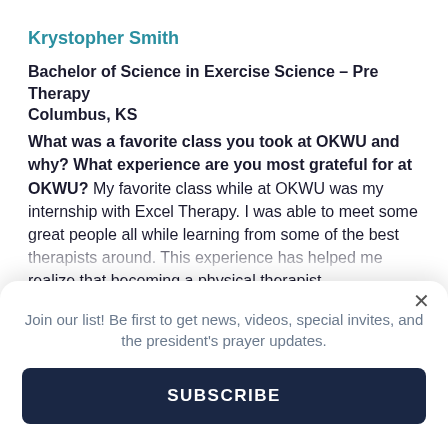Krystopher Smith
Bachelor of Science in Exercise Science – Pre Therapy
Columbus, KS
What was a favorite class you took at OKWU and why? What experience are you most grateful for at OKWU? My favorite class while at OKWU was my internship with Excel Therapy. I was able to meet some great people all while learning from some of the best therapists around. This experience has helped me realize that becoming a physical therapist
Join our list! Be first to get news, videos, special invites, and the president's prayer updates.
SUBSCRIBE